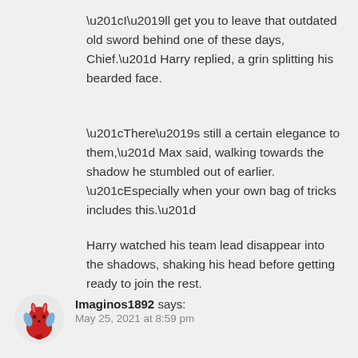“I’ll get you to leave that outdated old sword behind one of these days, Chief.” Harry replied, a grin splitting his bearded face.
“There’s still a certain elegance to them,” Max said, walking towards the shadow he stumbled out of earlier. “Especially when your own bag of tricks includes this.”
Harry watched his team lead disappear into the shadows, shaking his head before getting ready to join the rest.
Imaginos1892 says:
May 25, 2021 at 8:59 pm